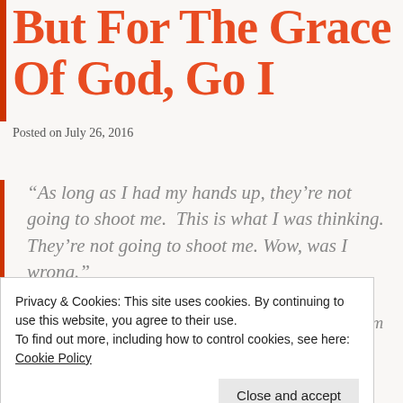But For The Grace Of God, Go I
Posted on July 26, 2016
“As long as I had my hands up, they’re not going to shoot me.  This is what I was thinking.  They’re not going to shoot me. Wow, was I wrong.”
-Charles Kinsey, Behavioral Health Therapist (from his hospital bed where he was recovering from a gunshot
Privacy & Cookies: This site uses cookies. By continuing to use this website, you agree to their use.
To find out more, including how to control cookies, see here: Cookie Policy
-Charles Kinsey